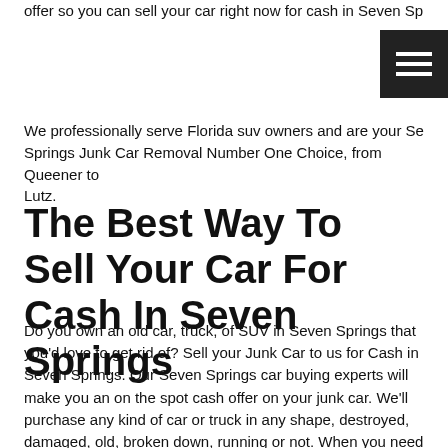offer so you can sell your car right now for cash in Seven Springs
We professionally serve Florida suv owners and are your Seven Springs Junk Car Removal Number One Choice, from Queener to Lutz.
The Best Way To Sell Your Car For Cash In Seven Springs
Do you own an old car, truck, of SUV in Seven Springs that you'd love to get rid of? Sell your Junk Car to us for Cash in Seven Springs. Our Seven Springs car buying experts will make you an on the spot cash offer on your junk car. We'll purchase any kind of car or truck in any shape, destroyed, damaged, old, broken down, running or not. When you need to sell a junk vehicle in Seven Springs, we're your go to community car buyer. Do you have an abandoned vehicle rusting out on your property? Junking your car or junking your truck in Seven Springs is straight forward and fast. We buy just about any car and you always get paid cash for junk cars. We operate locally in Seven